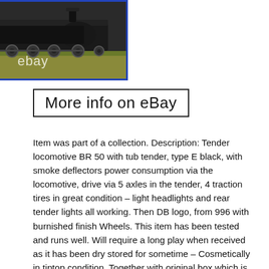[Figure (photo): Photo of a model train locomotive (BR 50 tender locomotive), black, on a yellowish base, with 'ebay' watermark text overlaid. Framed with a blue border.]
More info on eBay
Item was part of a collection. Description: Tender locomotive BR 50 with tub tender, type E black, with smoke deflectors power consumption via the locomotive, drive via 5 axles in the tender, 4 traction tires in great condition – light headlights and rear tender lights all working. Then DB logo, from 996 with burnished finish Wheels. This item has been tested and runs well. Will require a long play when received as it has been dry stored for sometime – Cosmetically in tiptop condition. Together with original box which is also in great condition (see photo). This item is made in Germany. Will be well packaged for sending out. MOST ITEMS LAY-OUT READY! This item is in the